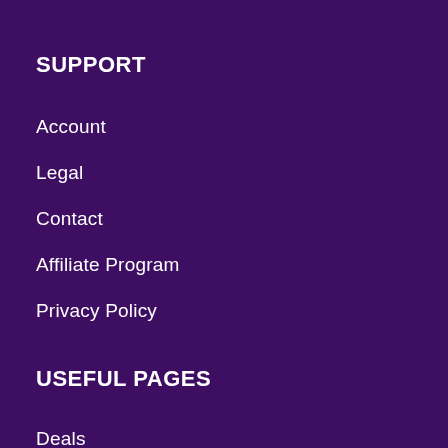SUPPORT
Account
Legal
Contact
Affiliate Program
Privacy Policy
USEFUL PAGES
Deals
FAQs
Why Choose Us